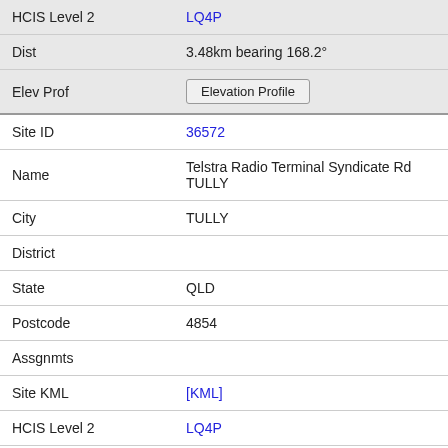| Field | Value |
| --- | --- |
| HCIS Level 2 | LQ4P |
| Dist | 3.48km bearing 168.2° |
| Elev Prof | Elevation Profile |
| Site ID | 36572 |
| Name | Telstra Radio Terminal Syndicate Rd TULLY |
| City | TULLY |
| District |  |
| State | QLD |
| Postcode | 4854 |
| Assgnmts |  |
| Site KML | [KML] |
| HCIS Level 2 | LQ4P |
| Dist | 3.75km bearing 200.1° |
| Elev Prof | Elevation Profile |
| Site ID | 20610 |
| Name | Bruce Highway Hewitt Siding TULLY |